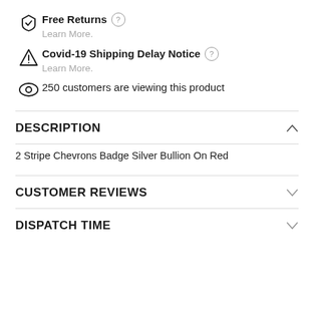Free Returns — Learn More.
Covid-19 Shipping Delay Notice — Learn More.
250 customers are viewing this product
DESCRIPTION
2 Stripe Chevrons Badge Silver Bullion On Red
CUSTOMER REVIEWS
DISPATCH TIME